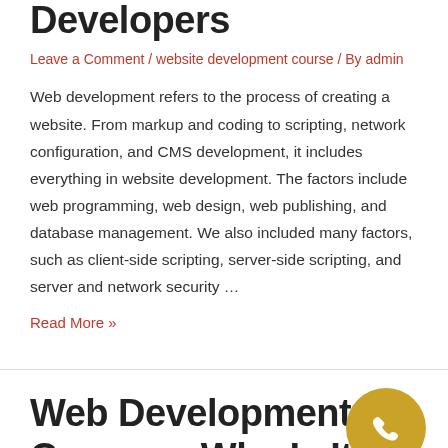Developers
Leave a Comment / website development course / By admin
Web development refers to the process of creating a website. From markup and coding to scripting, network configuration, and CMS development, it includes everything in website development. The factors include web programming, web design, web publishing, and database management. We also included many factors, such as client-side scripting, server-side scripting, and server and network security …
Read More »
Web Development Courses: Why Is It Necessary for Your Career?
[Figure (illustration): Gold/yellow circular phone icon button on the right side]